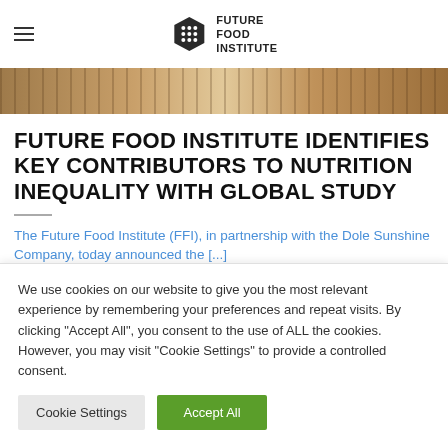FUTURE FOOD INSTITUTE
[Figure (photo): Hero strip image of colorful food/market scene]
FUTURE FOOD INSTITUTE IDENTIFIES KEY CONTRIBUTORS TO NUTRITION INEQUALITY WITH GLOBAL STUDY
The Future Food Institute (FFI), in partnership with the Dole Sunshine Company, today announced the [...]
We use cookies on our website to give you the most relevant experience by remembering your preferences and repeat visits. By clicking "Accept All", you consent to the use of ALL the cookies. However, you may visit "Cookie Settings" to provide a controlled consent.